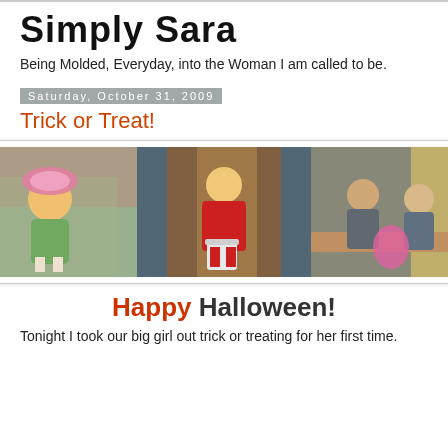Simply Sara
Being Molded, Everyday, into the Woman I am called to be.
Saturday, October 31, 2009
Trick or Treat!
[Figure (photo): Three Halloween photos side by side: a baby in a flower costume, a toddler in a red Chinese outfit, and two children looking at candy]
Happy Halloween!
Tonight I took our big girl out trick or treating for her first time.